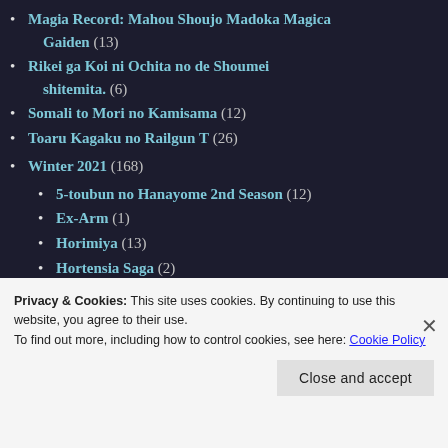Magia Record: Mahou Shoujo Madoka Magica Gaiden (13)
Rikei ga Koi ni Ochita no de Shoumei shitemita. (6)
Somali to Mori no Kamisama (12)
Toaru Kagaku no Railgun T (26)
Winter 2021 (168)
5-toubun no Hanayome 2nd Season (12)
Ex-Arm (1)
Horimiya (13)
Hortensia Saga (2)
Privacy & Cookies: This site uses cookies. By continuing to use this website, you agree to their use.
To find out more, including how to control cookies, see here: Cookie Policy
Close and accept